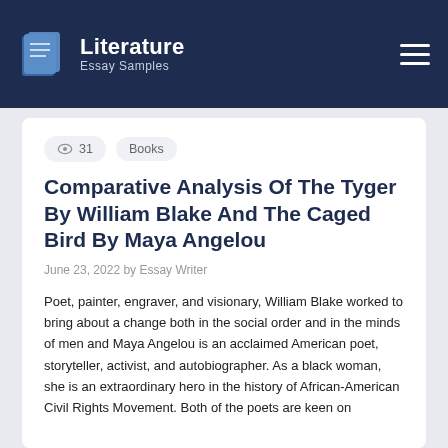Literature Essay Samples
31  Books
Comparative Analysis Of The Tyger By William Blake And The Caged Bird By Maya Angelou
June 23, 2022 by Essay Writer
Poet, painter, engraver, and visionary, William Blake worked to bring about a change both in the social order and in the minds of men and Maya Angelou is an acclaimed American poet, storyteller, activist, and autobiographer. As a black woman, she is an extraordinary hero in the history of African-American Civil Rights Movement. Both of the poets are keen on